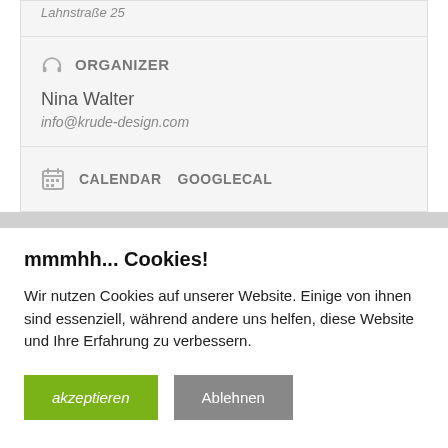Lahnstraße 25
ORGANIZER
Nina Walter
info@krude-design.com
CALENDAR   GOOGLECAL
mmmhh... Cookies!
Wir nutzen Cookies auf unserer Website. Einige von ihnen sind essenziell, während andere uns helfen, diese Website und Ihre Erfahrung zu verbessern.
akzeptieren
Ablehnen